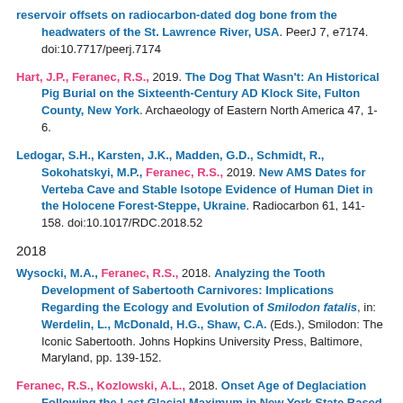reservoir offsets on radiocarbon-dated dog bone from the headwaters of the St. Lawrence River, USA. PeerJ 7, e7174. doi:10.7717/peerj.7174
Hart, J.P., Feranec, R.S., 2019. The Dog That Wasn't: An Historical Pig Burial on the Sixteenth-Century AD Klock Site, Fulton County, New York. Archaeology of Eastern North America 47, 1-6.
Ledogar, S.H., Karsten, J.K., Madden, G.D., Schmidt, R., Sokohatskyi, M.P., Feranec, R.S., 2019. New AMS Dates for Verteba Cave and Stable Isotope Evidence of Human Diet in the Holocene Forest-Steppe, Ukraine. Radiocarbon 61, 141-158. doi:10.1017/RDC.2018.52
2018
Wysocki, M.A., Feranec, R.S., 2018. Analyzing the Tooth Development of Sabertooth Carnivores: Implications Regarding the Ecology and Evolution of Smilodon fatalis, in: Werdelin, L., McDonald, H.G., Shaw, C.A. (Eds.), Smilodon: The Iconic Sabertooth. Johns Hopkins University Press, Baltimore, Maryland, pp. 139-152.
Feranec, R.S., Kozlowski, A.L., 2018. Onset Age of Deglaciation Following the Last Glacial Maximum in New York State Based on Radiocarbon Ages of Mammalian Megafauna, in: Kehew, A.E., Curry, B.B. (Eds.), Quaternary Glaciation Of The Great Lakes